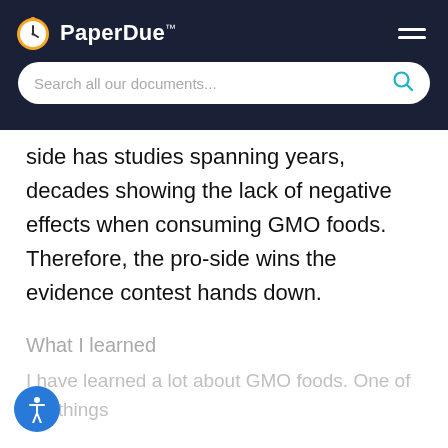PaperDue™ — Search all our documents...
side has studies spanning years, decades showing the lack of negative effects when consuming GMO foods. Therefore, the pro-side wins the evidence contest hands down.
What I learned
I have learned a lot about GMO foods. One of the things